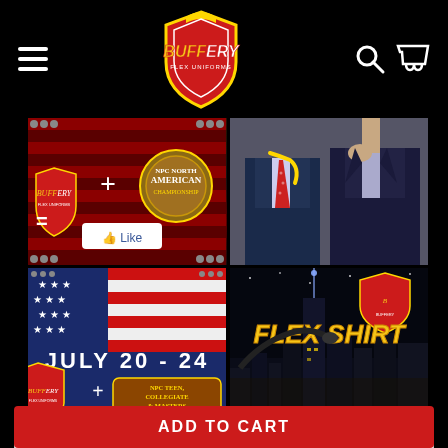[Figure (screenshot): Buffery Flex Uniforms website header with hamburger menu, logo shield, search and cart icons on black background]
[Figure (screenshot): Four image grid: top-left shows Buffery + NPC North American Championship logo on American flag riveted metal; top-right shows tailor fitting suit with yellow tape measure; bottom-left shows July 20-24 NPC Teen Collegiate & Masters Nationals with Buffery logo on American flag; bottom-right shows Buffery Flex Shirt advertisement with city skyline at night]
Bone / 42 / 10 / Regular
ADD TO CART